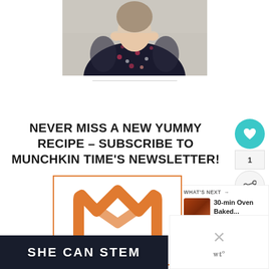[Figure (photo): Woman wearing a dark floral dress with sheer short sleeves, photographed from shoulders up against a light background]
NEVER MISS A NEW YUMMY RECIPE – SUBSCRIBE TO MUNCHKIN TIME'S NEWSLETTER!
[Figure (logo): Orange letter M logo inside an orange rectangular border — Munchkin Time newsletter signup graphic]
[Figure (screenshot): SHE CAN STEM banner ad — dark navy background with white bold uppercase text]
[Figure (photo): What's Next panel showing thumbnail of 30-min Oven Baked... recipe with a food photo]